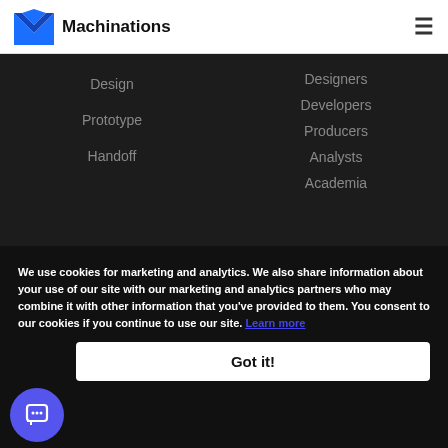Machinations
Design
Prototype
Handoff
Designers
Developers
Producers
Analysts
Academia
We use cookies for marketing and analytics. We also share information about your use of our site with our marketing and analytics partners who may combine it with other information that you've provided to them. You consent to our cookies if you continue to use our site. Learn more
Got it!
Lessons